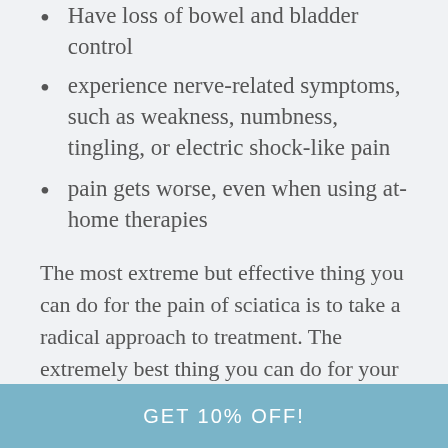Have loss of bowel and bladder control
experience nerve-related symptoms, such as weakness, numbness, tingling, or electric shock-like pain
pain gets worse, even when using at-home therapies
The most extreme but effective thing you can do for the pain of sciatica is to take a radical approach to treatment. The extremely best thing you can do for your back and leg pain is to make sure you are treating it aggressively with gentle exercise, ice and heat therapy, proper posture, and medication. But the most important thing you can do is be aware of it- if
GET 10% OFF!